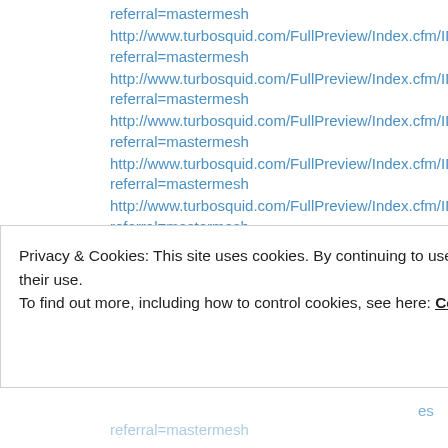referral=mastermesh
http://www.turbosquid.com/FullPreview/Index.cfm/ID/278377scrapes referral=mastermesh
http://www.turbosquid.com/FullPreview/Index.cfm/ID/278378scrapes referral=mastermesh
http://www.turbosquid.com/FullPreview/Index.cfm/ID/278379scrapes referral=mastermesh
http://www.turbosquid.com/FullPreview/Index.cfm/ID/278380scrapes referral=mastermesh
http://www.turbosquid.com/FullPreview/Index.cfm/ID/278381scrapes referral=mastermesh
http://www.turbosquid.com/FullPreview/Index.cfm/ID/278382scrapes referral=mastermesh
http://www.turbosquid.com/FullPreview/Index.cfm/ID/278383scrapes
Privacy & Cookies: This site uses cookies. By continuing to use this website, you agree to their use. To find out more, including how to control cookies, see here: Cookie Policy
referral=mastermesh